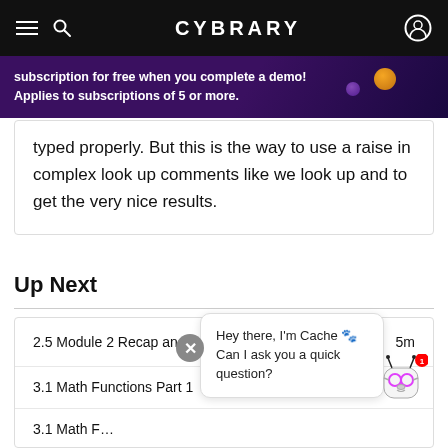CYBRARY
subscription for free when you complete a demo! Applies to subscriptions of 5 or more.
typed properly. But this is the way to use a raise in complex look up comments like we look up and to get the very nice results.
Up Next
| Title | Duration |
| --- | --- |
| 2.5 Module 2 Recap and Exercise Guidelines | 5m |
| 3.1 Math Functions Part 1 | 11m |
| 3.1 Math F… |  |
| 3.1 Math Functions Part 2 | 16m |
Hey there, I'm Cache 🐾 Can I ask you a quick question?